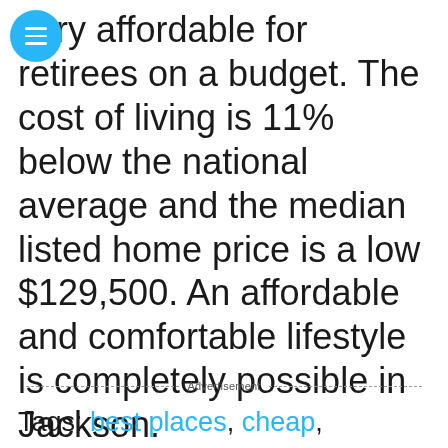very affordable for retirees on a budget. The cost of living is 11% below the national average and the median listed home price is a low $129,500. An affordable and comfortable lifestyle is completely possible in Jackson.
Advertisement
Tags: best places, cheap,